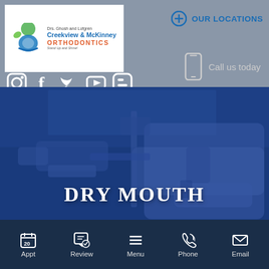[Figure (logo): Drs. Ghosh and Lofgren Creekview & McKinney Orthodontics logo with green/blue tooth icon]
OUR LOCATIONS
Call us today
[Figure (infographic): Social media icons: Instagram, Facebook, Twitter, YouTube, Blogger]
[Figure (photo): Orthodontic dental office interior with chairs, blue overlay tint]
DRY MOUTH
Appt  Review  Menu  Phone  Email